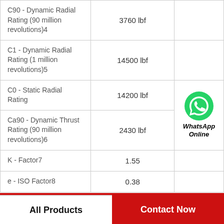| Property | Value |  |
| --- | --- | --- |
| C90 - Dynamic Radial Rating (90 million revolutions)4 | 3760 lbf |  |
| C1 - Dynamic Radial Rating (1 million revolutions)5 | 14500 lbf |  |
| C0 - Static Radial Rating | 14200 lbf | WhatsApp Online |
| Ca90 - Dynamic Thrust Rating (90 million revolutions)6 | 2430 lbf |  |
| K - Factor7 | 1.55 |  |
| e - ISO Factor8 | 0.38 |  |
All Products   Contact Now